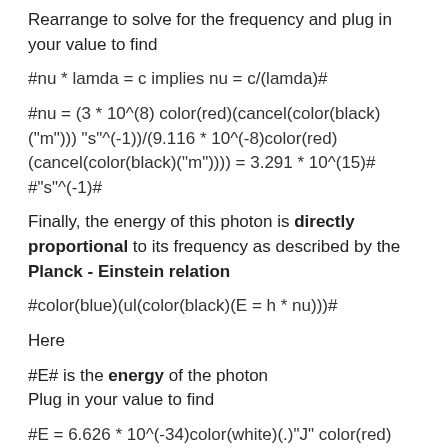Rearrange to solve for the frequency and plug in your value to find
Finally, the energy of this photon is directly proportional to its frequency as described by the Planck - Einstein relation
Here
#E# is the energy of the photon
Plug in your value to find